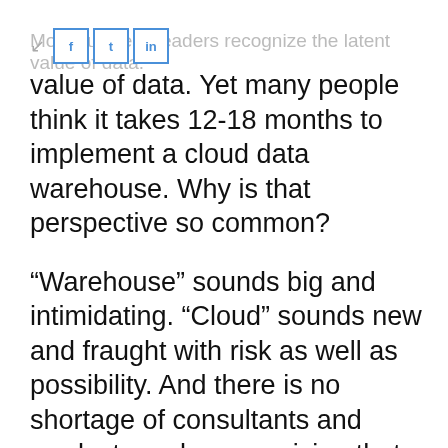Most business leaders recognize the latent value of data. Yet many people think it takes 12-18 months to implement a cloud data warehouse. Why is that perspective so common?
“Warehouse” sounds big and intimidating. “Cloud” sounds new and fraught with risk as well as possibility. And there is no shortage of consultants and product vendors promising that their offering is the silver bullet to make all this easy.
Data can be complex. But the last couple of years have seen many innovations to